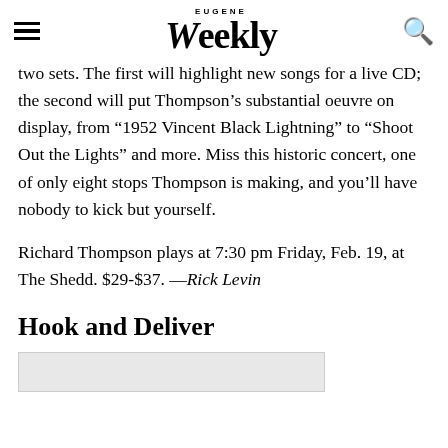Eugene Weekly
two sets. The first will highlight new songs for a live CD; the second will put Thompson's substantial oeuvre on display, from “1952 Vincent Black Lightning” to “Shoot Out the Lights” and more. Miss this historic concert, one of only eight stops Thompson is making, and you'll have nobody to kick but yourself.
Richard Thompson plays at 7:30 pm Friday, Feb. 19, at The Shedd. $29-$37. —Rick Levin
Hook and Deliver
[Figure (photo): Partial image visible at bottom of page, light gray rectangle]